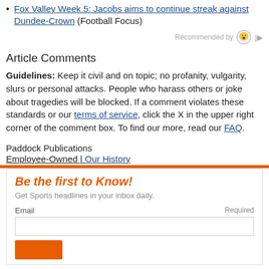Fox Valley Week 5: Jacobs aims to continue streak against Dundee-Crown (Football Focus)
Recommended by
Article Comments
Guidelines: Keep it civil and on topic; no profanity, vulgarity, slurs or personal attacks. People who harass others or joke about tragedies will be blocked. If a comment violates these standards or our terms of service, click the X in the upper right corner of the comment box. To find our more, read our FAQ.
Paddock Publications
Employee-Owned | Our History
Be the first to Know! Get Sports headlines in your inbox daily. Email Required